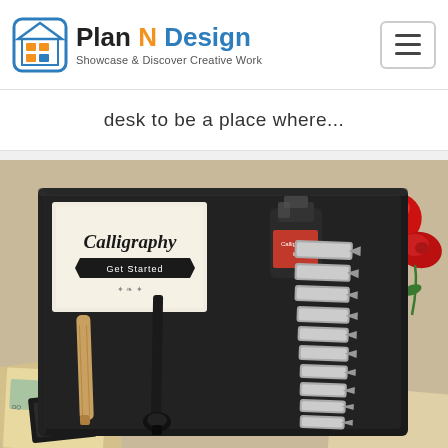Plan N Design — Showcase & Discover Creative Work
desk to be a place where...
[Figure (photo): A calligraphy starter kit in a black box containing two dip pens (one with wooden handle, one with ornate metal nib holder), an ink bottle, multiple calligraphy nibs arranged in a row, a 'Calligraphy Get Started' booklet, with red roses and vintage paper/stamps visible around the box.]